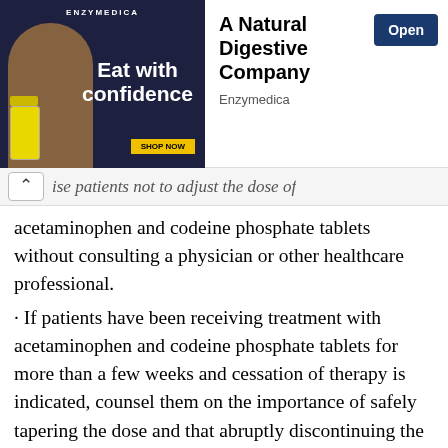[Figure (illustration): Advertisement banner for Enzymedica, A Natural Digestive Company. Left side shows dark background with 'Eat with confidence' text and shop now button. Right side shows company name and an Open button.]
ise patients not to adjust the dose of acetaminophen and codeine phosphate tablets without consulting a physician or other healthcare professional.
· If patients have been receiving treatment with acetaminophen and codeine phosphate tablets for more than a few weeks and cessation of therapy is indicated, counsel them on the importance of safely tapering the dose and that abruptly discontinuing the medication could precipitate withdrawal symptoms. Provide a dose schedule to accomplish a gradual discontinuation of the medication (see